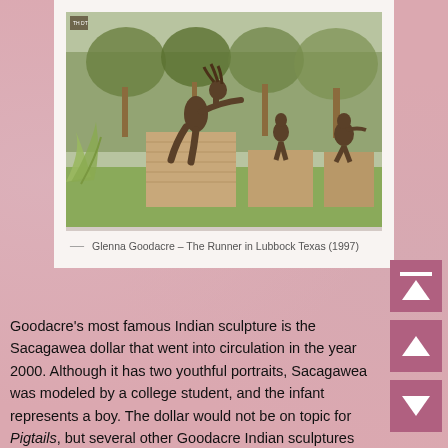[Figure (photo): Bronze sculptures in an outdoor park setting in Lubbock Texas. A prominent figure leans forward on a brick pedestal, with two other seated figures in the background among trees and landscaping.]
— Glenna Goodacre – The Runner in Lubbock Texas (1997)
Goodacre's most famous Indian sculpture is the Sacagawea dollar that went into circulation in the year 2000. Although it has two youthful portraits, Sacagawea was modeled by a college student, and the infant represents a boy. The dollar would not be on topic for Pigtails, but several other Goodacre Indian sculptures are. The two shown below are Little Sister and 3rd Generation.